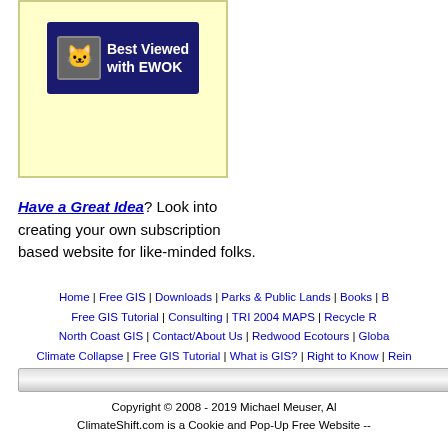[Figure (logo): Yellow box containing a 'Best Viewed with EWOK' badge with a cat graphic on dark blue background]
Have a Great Idea? Look into creating your own subscription based website for like-minded folks.
Home | Free GIS | Downloads | Parks & Public Lands | Books | B... Free GIS Tutorial | Consulting | TRI 2004 MAPS | Recycle R... North Coast GIS | Contact/About Us | Redwood Ecotours | Globa... Climate Collapse | Free GIS Tutorial | What is GIS? | Right to Know | Rein...
Copyright © 2008 - 2019 Michael Meuser, Al... ClimateShift.com is a Cookie and Pop-Up Free Website --